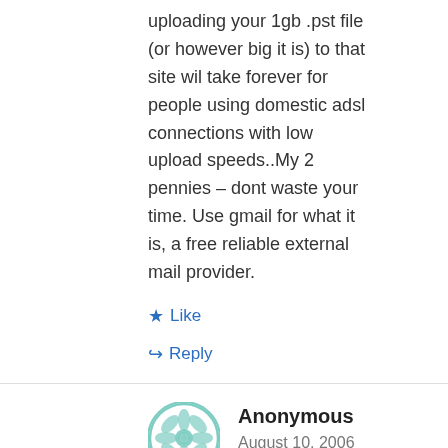uploading your 1gb .pst file (or however big it is) to that site wil take forever for people using domestic adsl connections with low upload speeds..My 2 pennies – dont waste your time. Use gmail for what it is, a free reliable external mail provider.
Like
Reply
Anonymous
August 10, 2006 at 1:42 pm
You still can't download your sent items, uploss you know something I don't!